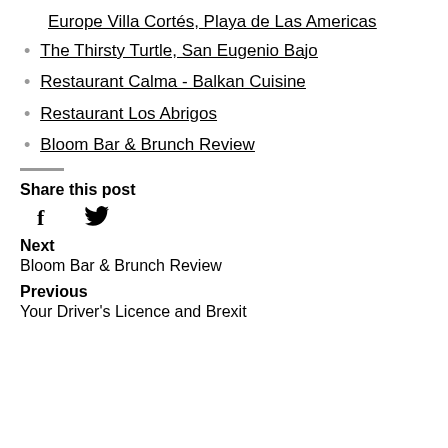Europe Villa Cortés, Playa de Las Americas
The Thirsty Turtle, San Eugenio Bajo
Restaurant Calma - Balkan Cuisine
Restaurant Los Abrigos
Bloom Bar & Brunch Review
Share this post
[Figure (other): Facebook and Twitter social share icons]
Next
Bloom Bar & Brunch Review
Previous
Your Driver's Licence and Brexit